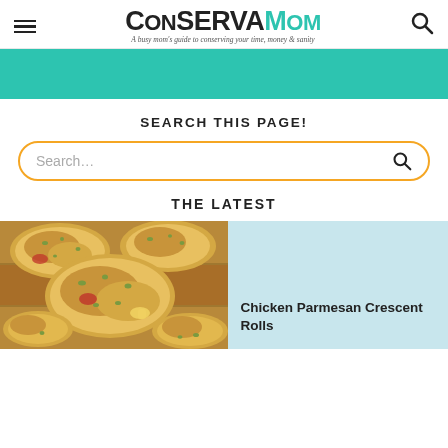ConservaMom — A busy mom's guide to conserving your time, money & sanity
[Figure (other): Teal/turquoise banner strip]
SEARCH THIS PAGE!
Search...
THE LATEST
[Figure (photo): Photo of chicken parmesan crescent rolls — golden baked crescent rolls on a wooden board]
Chicken Parmesan Crescent Rolls